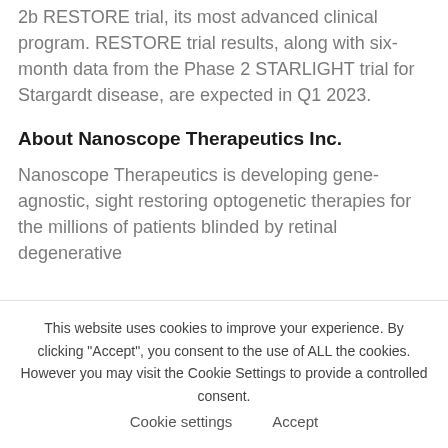2b RESTORE trial, its most advanced clinical program. RESTORE trial results, along with six-month data from the Phase 2 STARLIGHT trial for Stargardt disease, are expected in Q1 2023.
About Nanoscope Therapeutics Inc.
Nanoscope Therapeutics is developing gene-agnostic, sight restoring optogenetic therapies for the millions of patients blinded by retinal degenerative
This website uses cookies to improve your experience. By clicking "Accept", you consent to the use of ALL the cookies. However you may visit the Cookie Settings to provide a controlled consent. Cookie settings Accept